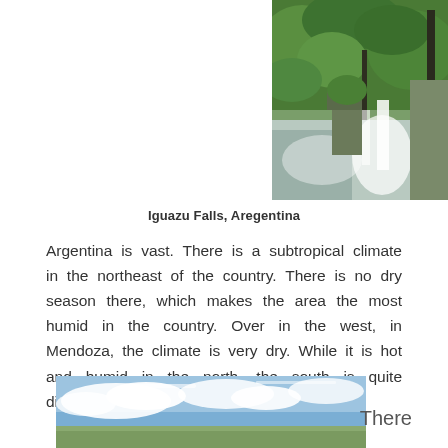[Figure (photo): Aerial/ground view of Iguazu Falls, Argentina — lush green jungle with waterfalls and mist, partial image cropped at top]
Iguazu Falls, Aregentina
Argentina is vast. There is a subtropical climate in the northeast of the country. There is no dry season there, which makes the area the most humid in the country. Over in the west, in Mendoza, the climate is very dry. While it is hot and humid in the north, the south is quite different.
[Figure (photo): Landscape photo with blue sky and clouds, partially visible at bottom of page]
There